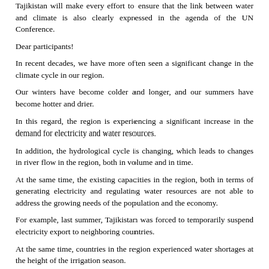Tajikistan will make every effort to ensure that the link between water and climate is also clearly expressed in the agenda of the UN Conference.
Dear participants!
In recent decades, we have more often seen a significant change in the climate cycle in our region.
Our winters have become colder and longer, and our summers have become hotter and drier.
In this regard, the region is experiencing a significant increase in the demand for electricity and water resources.
In addition, the hydrological cycle is changing, which leads to changes in river flow in the region, both in volume and in time.
At the same time, the existing capacities in the region, both in terms of generating electricity and regulating water resources are not able to address the growing needs of the population and the economy.
For example, last summer, Tajikistan was forced to temporarily suspend electricity export to neighboring countries.
At the same time, countries in the region experienced water shortages at the height of the irrigation season.
The early, cold and long winter of that year brought us new challenges.
The region has faced a severe drought that year, which has